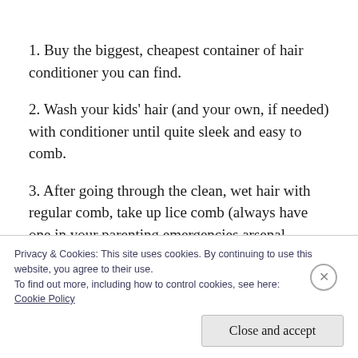1. Buy the biggest, cheapest container of hair conditioner you can find.
2. Wash your kids' hair (and your own, if needed) with conditioner until quite sleek and easy to comb.
3. After going through the clean, wet hair with regular comb, take up lice comb (always have one in your parenting emergencies arsenal – metal, not plastic!). Remove all lice and nits
Privacy & Cookies: This site uses cookies. By continuing to use this website, you agree to their use.
To find out more, including how to control cookies, see here:
Cookie Policy